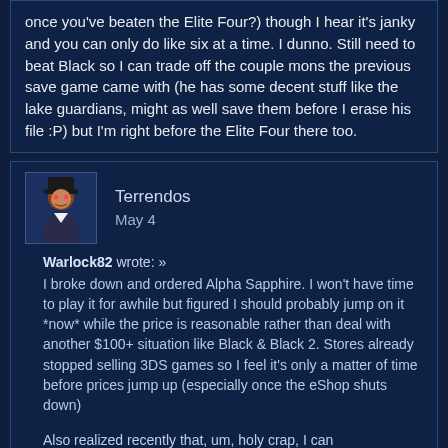once you've beaten the Elite Four?) though I hear it's janky and you can only do like six at a time. I dunno. Still need to beat Black so I can trade off the couple mons the previous save game came with (he has some decent stuff like the lake guardians, might as well save them before I erase his file :P) but I'm right before the Elite Four there too.
Terrendos
May 4
Warlock82 wrote: »
I broke down and ordered Alpha Sapphire. I won't have time to play it for awhile but figured I should probably jump on it *now* while the price is reasonable rather than deal with another $100+ situation like Black & Black 2. Stores already stopped selling 3DS games so I feel it's only a matter of time before prices jump up (especially once the eShop shuts down)
Also realized recently that, um, holy crap, I can